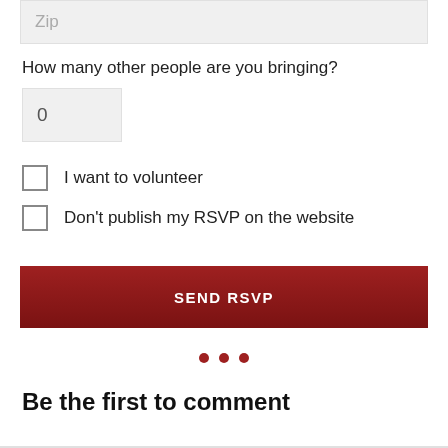Zip
How many other people are you bringing?
0
I want to volunteer
Don't publish my RSVP on the website
SEND RSVP
Be the first to comment